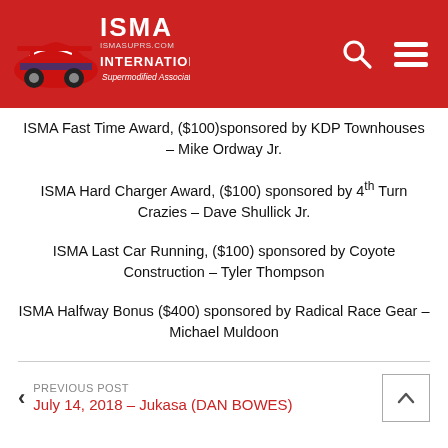[Figure (logo): ISMA International Supermodified Association logo on red header background with search and menu icons]
ISMA Fast Time Award, ($100)sponsored by KDP Townhouses – Mike Ordway Jr.
ISMA Hard Charger Award, ($100) sponsored by 4th Turn Crazies – Dave Shullick Jr.
ISMA Last Car Running, ($100) sponsored by Coyote Construction – Tyler Thompson
ISMA Halfway Bonus ($400) sponsored by Radical Race Gear – Michael Muldoon
PREVIOUS POST
July 14, 2018 – Jukasa (DAN BOWES)